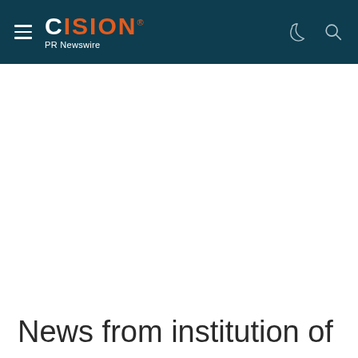CISION PR Newswire
News from institution of